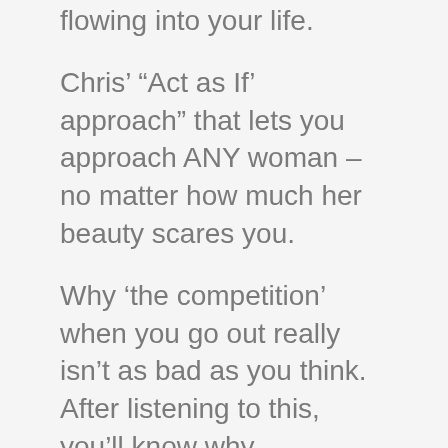flowing into your life.
Chris’ “Act as If’ approach” that lets you approach ANY woman – no matter how much her beauty scares you.
Why ‘the competition’ when you go out really isn’t as bad as you think.  After listening to this, you’ll know why cockblocks are NOTHING for you to